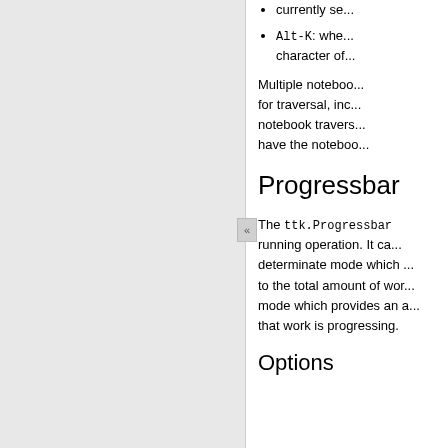currently se...
Alt-K: whe... character of...
Multiple notebook... for traversal, inc... notebook travers... have the noteboo...
Progressbar
The ttk.Progressbar running operation. It ca... determinate mode which ... to the total amount of wor... mode which provides an a... that work is progressing.
Options